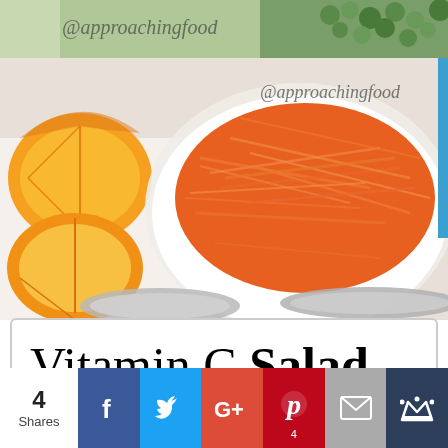[Figure (photo): Top strip showing @approachingfood watermark over green food background with peas/vegetables]
[Figure (photo): Main food photo showing shredded carrots in white bowl with orange slices and spoons, watermark @approachingfood in upper right]
Vitamin C Salad
[Figure (infographic): Social sharing bar with Facebook, Twitter, Google+, Pinterest (4 shares), Email, and crown/Yummly buttons. Shows 4 Shares total on left.]